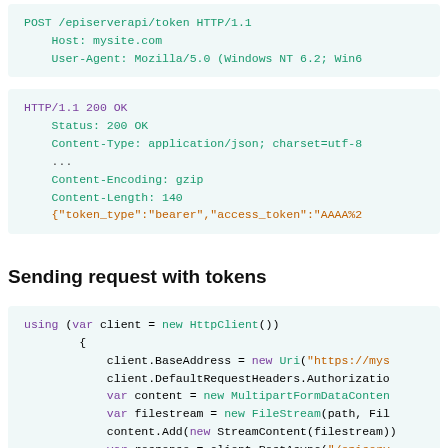POST /episerverapi/token HTTP/1.1
    Host: mysite.com
    User-Agent: Mozilla/5.0 (Windows NT 6.2; Win6
HTTP/1.1 200 OK
    Status: 200 OK
    Content-Type: application/json; charset=utf-8
    ...
    Content-Encoding: gzip
    Content-Length: 140
    {"token_type":"bearer","access_token":"AAAA%2
Sending request with tokens
using (var client = new HttpClient())
        {
            client.BaseAddress = new Uri("https://mys
            client.DefaultRequestHeaders.Authorizatio
            var content = new MultipartFormDataConten
            var filestream = new FileStream(path, Fil
            content.Add(new StreamContent(filestream)
            var response = client.PostAsync("/episerv